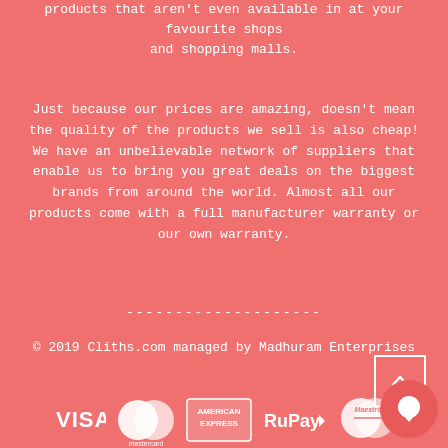products that aren't even available in at your favourite shops and shopping malls.
Just because our prices are amazing, doesn't mean the quality of the products we sell is also cheap! We have an unbelievable network of suppliers that enable us to bring you great deals on the biggest brands from around the world. Almost all our products come with a full manufacturer warranty or our own warranty.
--------------------
© 2019 Cliths.com managed by Madhuram Enterprises
[Figure (logo): Payment method logos: VISA, Mastercard, American Express, RuPay, Maestro]